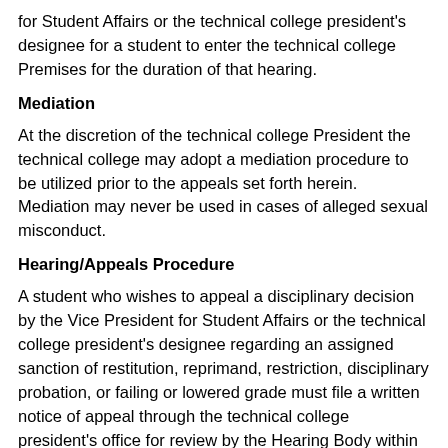for Student Affairs or the technical college president's designee for a student to enter the technical college Premises for the duration of that hearing.
Mediation
At the discretion of the technical college President the technical college may adopt a mediation procedure to be utilized prior to the appeals set forth herein. Mediation may never be used in cases of alleged sexual misconduct.
Hearing/Appeals Procedure
A student who wishes to appeal a disciplinary decision by the Vice President for Student Affairs or the technical college president's designee regarding an assigned sanction of restitution, reprimand, restriction, disciplinary probation, or failing or lowered grade must file a written notice of appeal through the technical college president's office for review by the Hearing Body within five business days of notification of